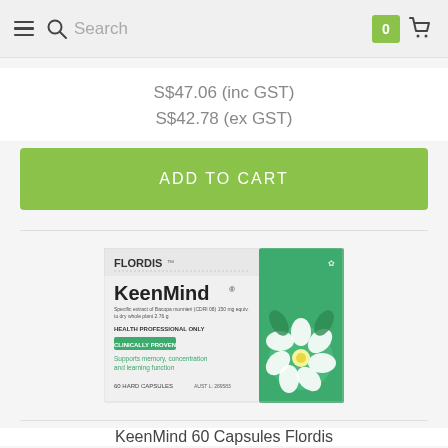Search | 0 | Cart
S$47.06 (inc GST)
S$42.78 (ex GST)
ADD TO CART
[Figure (photo): Product packaging for KeenMind 60 Hard Capsules by Flordis. White and green box showing 'FLORDIS KeenMind' branding, with text 'Specific extract of Bacopa monnieri (CDRI 08) 150 mg equiv. to dry whole plant 2.76 g', 'HEALTH PROFESSIONAL ONLY', 'CLINICALLY PROVEN' badge, 'Supports memory, concentration and learning function', '60 HARD CAPSULES'. Right side of box shows green panel with white flower photograph.]
KeenMind 60 Capsules Flordis